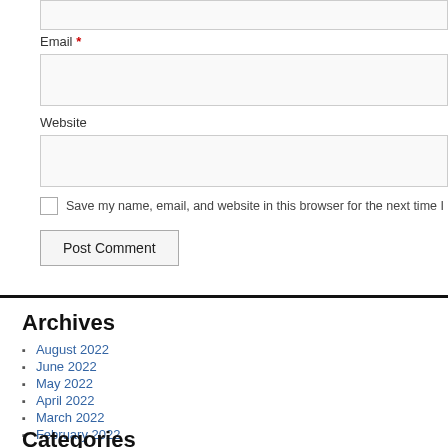Email *
Website
Save my name, email, and website in this browser for the next time I co
Post Comment
Archives
August 2022
June 2022
May 2022
April 2022
March 2022
February 2022
Categories